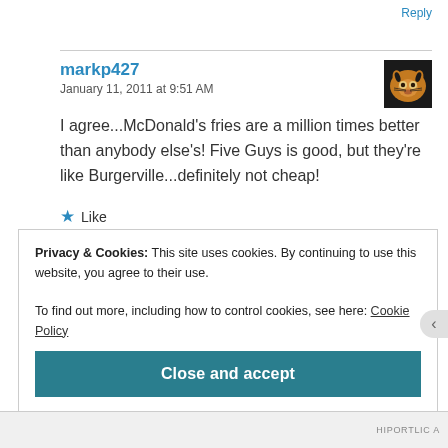Reply
markp427
January 11, 2011 at 9:51 AM
[Figure (photo): User avatar showing a cat/lynx face, orange and black tones]
I agree...McDonald's fries are a million times better than anybody else's! Five Guys is good, but they're like Burgerville...definitely not cheap!
★ Like
Privacy & Cookies: This site uses cookies. By continuing to use this website, you agree to their use.
To find out more, including how to control cookies, see here: Cookie Policy
Close and accept
HIPORTLIC A